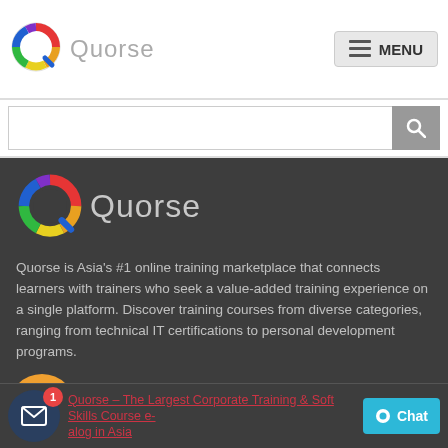[Figure (logo): Quorse colorful Q logo in the header]
Quorse  MENU
[Figure (screenshot): Search input bar with search button]
[Figure (logo): Large Quorse logo on dark background]
Quorse is Asia's #1 online training marketplace that connects learners with trainers who seek a value-added training experience on a single platform. Discover training courses from diverse categories, ranging from technical IT certifications to personal development programs.
[Figure (illustration): Orange circular button with document/pen icon]
AIN
Quorse – The Largest Corporate Training & Soft Skills Course e-alog in Asia
[Figure (illustration): Dark blue circular notification icon with envelope and red badge showing 1]
[Figure (illustration): Teal Chat button]